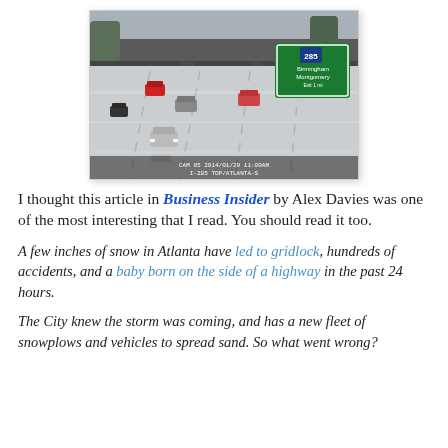[Figure (photo): Traffic camera screenshot of an Atlanta highway during snowstorm, showing icy roads, vehicles, an overpass, and a green interstate sign for Birmingham/Montgomery (I-285).]
I thought this article in Business Insider by Alex Davies was one of the most interesting that I read. You should read it too.
A few inches of snow in Atlanta have led to gridlock, hundreds of accidents, and a baby born on the side of a highway in the past 24 hours.
The City knew the storm was coming, and has a new fleet of snowplows and vehicles to spread sand. So what went wrong?